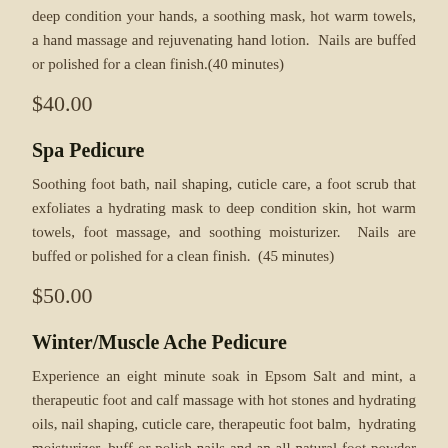deep condition your hands, a soothing mask, hot warm towels, a hand massage and rejuvenating hand lotion.  Nails are buffed or polished for a clean finish.(40 minutes)
$40.00
Spa Pedicure
Soothing foot bath, nail shaping, cuticle care, a foot scrub that exfoliates a hydrating mask to deep condition skin, hot warm towels, foot massage, and soothing moisturizer.  Nails are buffed or polished for a clean finish.  (45 minutes)
$50.00
Winter/Muscle Ache Pedicure
Experience an eight minute soak in Epsom Salt and mint, a therapeutic foot and calf massage with hot stones and hydrating oils, nail shaping, cuticle care, therapeutic foot balm,  hydrating moisturizer, buff or polish nails and an all natural foot powder to